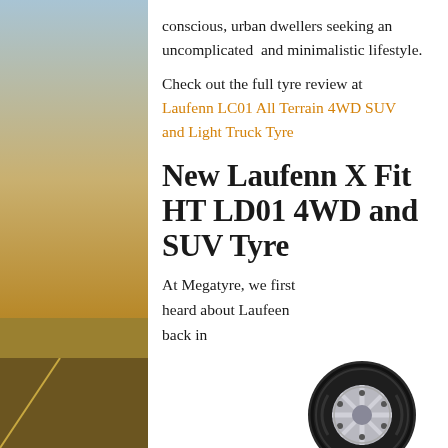conscious, urban dwellers seeking an uncomplicated  and minimalistic lifestyle.
Check out the full tyre review at Laufenn LC01 All Terrain 4WD SUV and Light Truck Tyre
New Laufenn X Fit HT LD01 4WD and SUV Tyre
At Megatyre, we first heard about Laufeen back in
[Figure (photo): Close-up photo of a Laufenn SUV tyre showing tread pattern and silver alloy wheel]